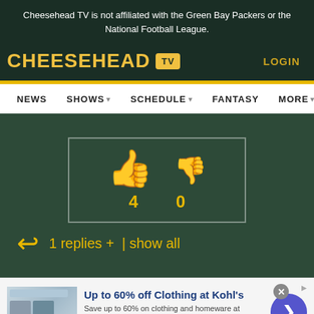Cheesehead TV is not affiliated with the Green Bay Packers or the National Football League.
[Figure (logo): Cheesehead TV logo with yellow text and TV icon, LOGIN link on right]
[Figure (infographic): Vote widget showing thumbs up (4) and thumbs down (0) icons in a bordered box]
1 replies +  | show all
[Figure (infographic): Advertisement banner: Up to 60% off Clothing at Kohl's. Save up to 60% on clothing and homeware at Kohl's.com. kohls.com]